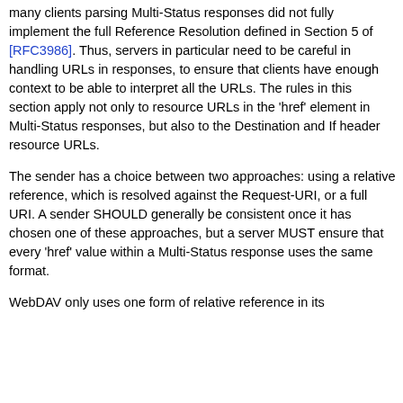many clients parsing Multi-Status responses did not fully implement the full Reference Resolution defined in Section 5 of [RFC3986]. Thus, servers in particular need to be careful in handling URLs in responses, to ensure that clients have enough context to be able to interpret all the URLs. The rules in this section apply not only to resource URLs in the 'href' element in Multi-Status responses, but also to the Destination and If header resource URLs.
The sender has a choice between two approaches: using a relative reference, which is resolved against the Request-URI, or a full URI. A sender SHOULD generally be consistent once it has chosen one of these approaches, but a server MUST ensure that every 'href' value within a Multi-Status response uses the same format.
WebDAV only uses one form of relative reference in its ...